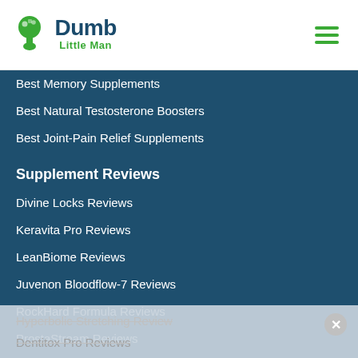[Figure (logo): Dumb Little Man logo with green brain/head icon and text]
Best Memory Supplements
Best Natural Testosterone Boosters
Best Joint-Pain Relief Supplements
Supplement Reviews
Divine Locks Reviews
Keravita Pro Reviews
LeanBiome Reviews
Juvenon Bloodflow-7 Reviews
RockHard Formula Reviews
ProstaStream Reviews
NitriLean Reviews
Hyperbolic Stretching Review
Dentitox Pro Reviews